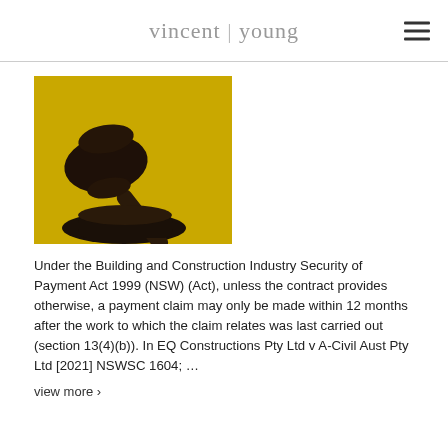vincent | young
[Figure (photo): Silhouette of a judge's gavel on a yellow background]
Under the Building and Construction Industry Security of Payment Act 1999 (NSW) (Act), unless the contract provides otherwise, a payment claim may only be made within 12 months after the work to which the claim relates was last carried out (section 13(4)(b)). In EQ Constructions Pty Ltd v A-Civil Aust Pty Ltd [2021] NSWSC 1604; …
view more ›